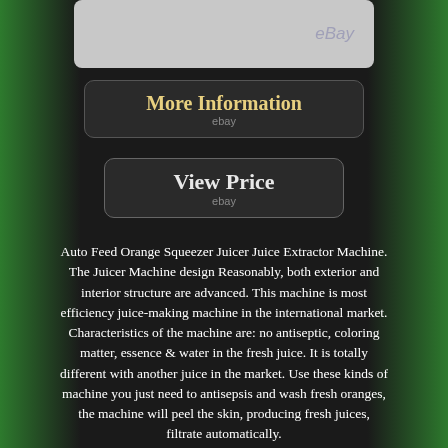[Figure (photo): Top portion of a juicer machine product photo on gray background with eBay watermark]
[Figure (screenshot): More Information button with eBay label, dark rounded rectangle with gold text]
[Figure (screenshot): View Price button with eBay label, dark rounded rectangle with white text]
Auto Feed Orange Squeezer Juicer Juice Extractor Machine. The Juicer Machine design Reasonably, both exterior and interior structure are advanced. This machine is most efficiency juice-making machine in the international market. Characteristics of the machine are: no antiseptic, coloring matter, essence & water in the fresh juice. It is totally different with another juice in the market. Use these kinds of machine you just need to antisepsis and wash fresh oranges, the machine will peel the skin, producing fresh juices, filtrate automatically.